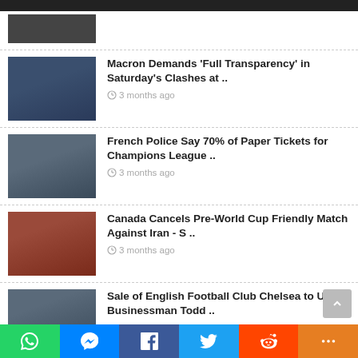[Figure (screenshot): Top dark navigation bar, partially visible]
[Figure (photo): Photo of Emmanuel Macron in a dark suit]
Macron Demands 'Full Transparency' in Saturday's Clashes at ..
3 months ago
[Figure (photo): Photo of French police and crowd]
French Police Say 70% of Paper Tickets for Champions League ..
3 months ago
[Figure (photo): Photo of soccer players on field]
Canada Cancels Pre-World Cup Friendly Match Against Iran - S ..
3 months ago
[Figure (photo): Photo of people at Chelsea football club]
Sale of English Football Club Chelsea to US Businessman Todd ..
[Figure (screenshot): Social sharing bar with WhatsApp, Messenger, Facebook, Twitter, Reddit, and More buttons]